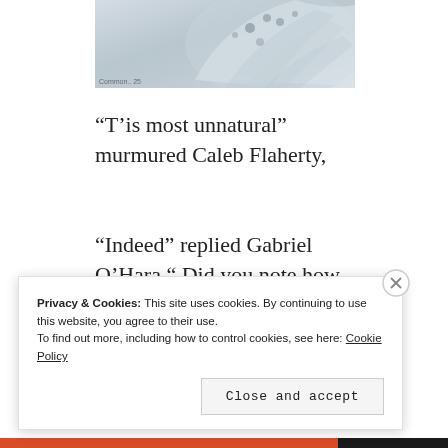[Figure (photo): Partial view of a bird with white/grey feathers against a light marbled background, cropped at top]
“T’is most unnatural” murmured Caleb Flaherty,
“Indeed” replied Gabriel O’Hara “ Did you note how the winds bearing us to salvation did abate, once that accursed bird was loosed from its cage!”
Privacy & Cookies: This site uses cookies. By continuing to use this website, you agree to their use.
To find out more, including how to control cookies, see here: Cookie Policy
Close and accept